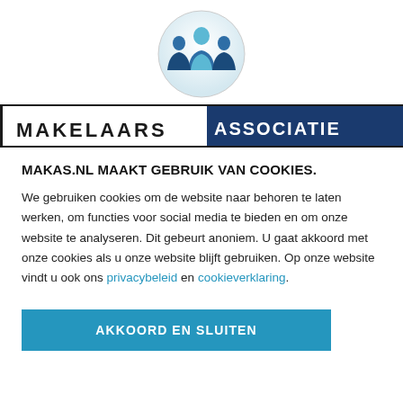[Figure (logo): Makelaars Associatie logo: circular icon with stylized blue figures on white background, with text banner MAKELAARS ASSOCIATIE below]
MAKAS.NL MAAKT GEBRUIK VAN COOKIES.
We gebruiken cookies om de website naar behoren te laten werken, om functies voor social media te bieden en om onze website te analyseren. Dit gebeurt anoniem. U gaat akkoord met onze cookies als u onze website blijft gebruiken. Op onze website vindt u ook ons privacybeleid en cookieverklaring.
AKKOORD EN SLUITEN